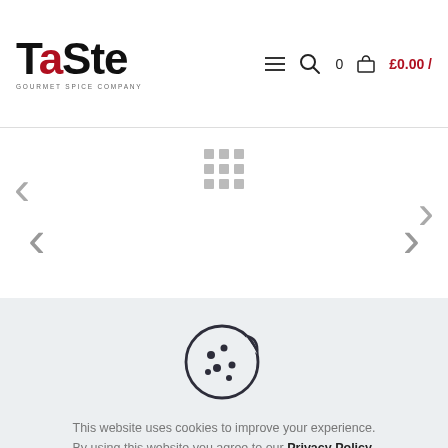[Figure (logo): Taste Gourmet Spice Company logo — bold stylized text 'TaSte' with red S, subtitle 'GOURMET SPICE COMPANY']
[Figure (screenshot): Website header with hamburger menu, search icon, cart with 0 items and £0.00 price]
[Figure (screenshot): Product slider area with left and right navigation arrows and a grid icon in the center top]
[Figure (illustration): Cookie icon — circular cookie with a bite taken out and chocolate chip dots]
This website uses cookies to improve your experience. By using this website you agree to our Privacy Policy.
Read more
accept all